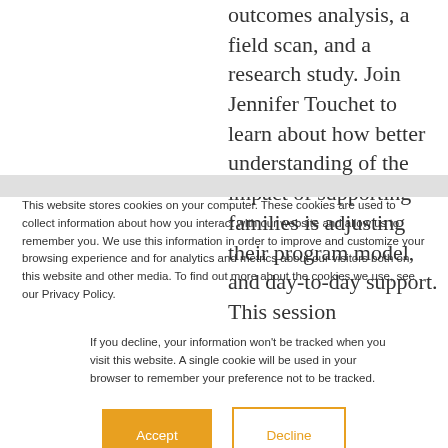Philanthropy from outcomes analysis, a field scan, and a research study. Join Jennifer Touchet to learn about how better understanding of the impact of supporting families is adjusting their program model, and day-to-day support. This session
This website stores cookies on your computer. These cookies are used to collect information about how you interact with our website and allow us to remember you. We use this information in order to improve and customize your browsing experience and for analytics and metrics about our visitors both on this website and other media. To find out more about the cookies we use, see our Privacy Policy.
If you decline, your information won't be tracked when you visit this website. A single cookie will be used in your browser to remember your preference not to be tracked.
Accept
Decline